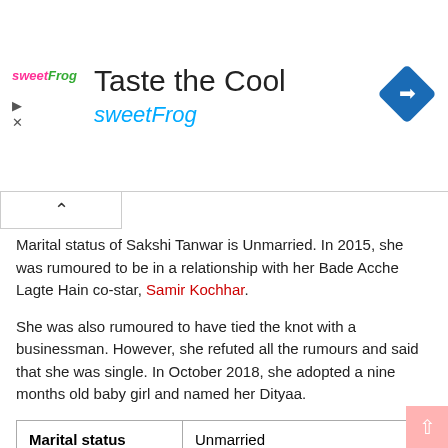[Figure (screenshot): Advertisement banner for sweetFrog with logo, title 'Taste the Cool', subtitle 'sweetFrog', navigation icon, play/close controls]
Marital status of Sakshi Tanwar is Unmarried. In 2015, she was rumoured to be in a relationship with her Bade Acche Lagte Hain co-star, Samir Kochhar.
She was also rumoured to have tied the knot with a businessman. However, she refuted all the rumours and said that she was single. In October 2018, she adopted a nine months old baby girl and named her Dityaa.
|  |  |
| --- | --- |
| Marital status | Unmarried |
| Affairs/ Relationship | Samir Kochhar (Rumoured) |
| Husband | N/A |